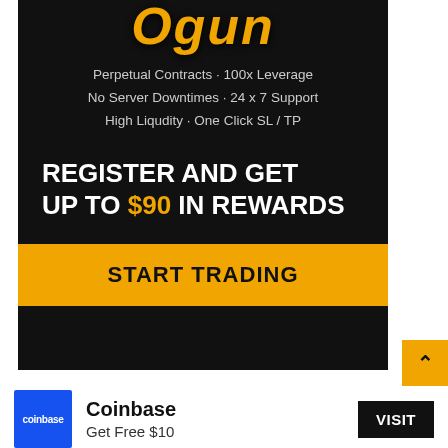[Figure (infographic): Dark-background crypto trading platform advertisement. Shows logo text partially cut off at top, feature bullets, promotional text 'REGISTER AND GET UP TO $90 IN REWARDS', and a gold 'START TRADING' call-to-action button.]
Perpetual Contracts · 100x Leverage
No Server Downtimes · 24 x 7 Support
High Liqudity · One Click SL / TP
REGISTER AND GET UP TO $90 IN REWARDS
START TRADING
[Figure (logo): Coinbase blue square logo with white 'coinbase' text]
Coinbase
Get Free $10
VISIT